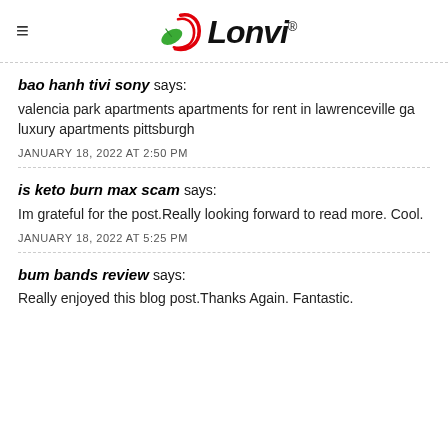Lonvi
bao hanh tivi sony says: valencia park apartments apartments for rent in lawrenceville ga luxury apartments pittsburgh
JANUARY 18, 2022 AT 2:50 PM
is keto burn max scam says: Im grateful for the post.Really looking forward to read more. Cool.
JANUARY 18, 2022 AT 5:25 PM
bum bands review says: Really enjoyed this blog post.Thanks Again. Fantastic.